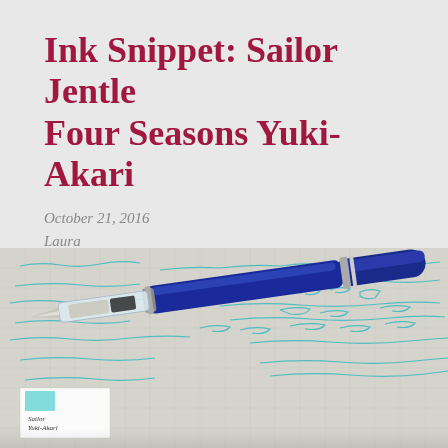Ink Snippet: Sailor Jentle Four Seasons Yuki-Akari
October 21, 2016
Laura
3 Comments
[Figure (photo): A blue fountain pen with a clear converter/nib section resting on handwritten notes in teal/cyan ink on grid paper, with a small ink swatch card labeled 'Sailor Yuki-Akari' in the lower left.]